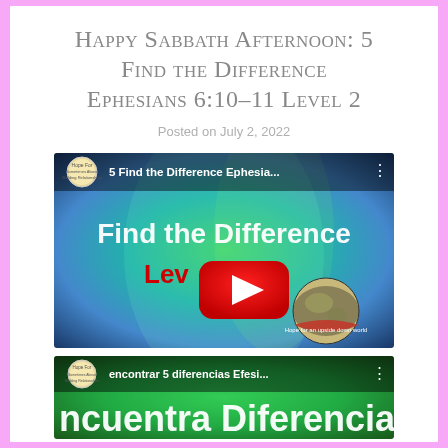Happy Sabbath Afternoon: 5 Find the Difference Ephesians 6:10-11 Level 2
Posted on July 2, 2022
[Figure (screenshot): YouTube video thumbnail showing '5 Find the Difference Ephesia...' with colorful green/blue background, YouTube play button in center, globe with 'Hope for an upside down world' ribbon, and channel logo in top left.]
[Figure (screenshot): YouTube video thumbnail showing 'encontrar 5 diferencias Efesi...' with colorful green background and large stylized text 'ncuentra Diferencias'.]